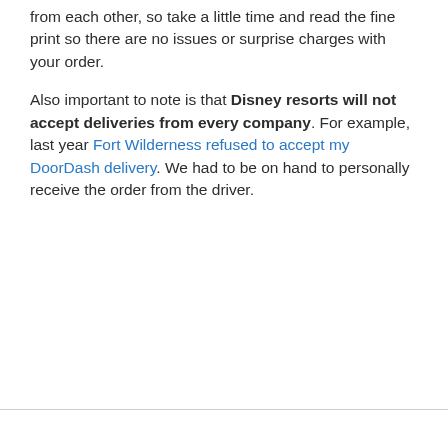from each other, so take a little time and read the fine print so there are no issues or surprise charges with your order.
Also important to note is that Disney resorts will not accept deliveries from every company. For example, last year Fort Wilderness refused to accept my DoorDash delivery. We had to be on hand to personally receive the order from the driver.